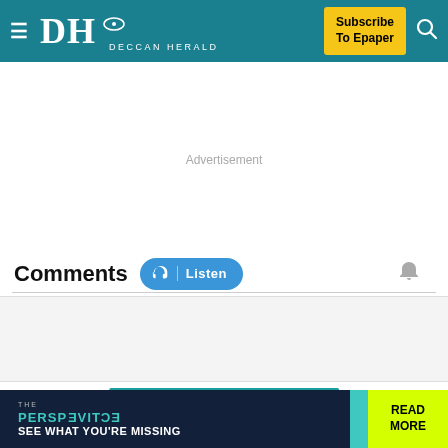DH DECCAN HERALD | Subscribe To Epaper
Advertisement
Comments  Listen
[Figure (other): Grey comment input area placeholder]
GO TO NEXT STORY ∨
THE PERSPECTIVE SEE WHAT YOU'RE MISSING | READ MORE